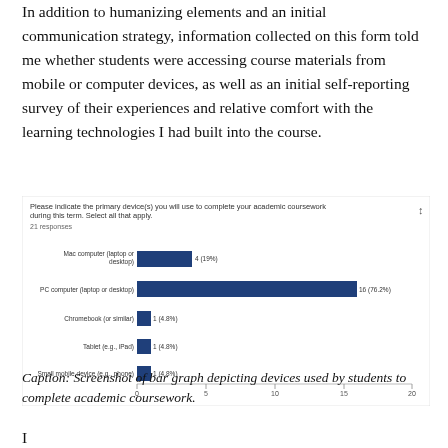In addition to humanizing elements and an initial communication strategy, information collected on this form told me whether students were accessing course materials from mobile or computer devices, as well as an initial self-reporting survey of their experiences and relative comfort with the learning technologies I had built into the course.
[Figure (bar-chart): Please indicate the primary device(s) you will use to complete your academic coursework during this term. Select all that apply.]
Caption: Screenshot of bar graph depicting devices used by students to complete academic coursework.
I...